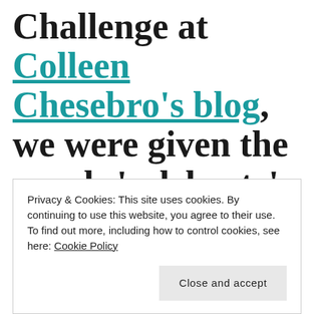Challenge at Colleen Chesebro's blog, we were given the words 'celebrate' and 'number' to replace with synonyms. My tanka includes…
Privacy & Cookies: This site uses cookies. By continuing to use this website, you agree to their use.
To find out more, including how to control cookies, see here: Cookie Policy
Close and accept